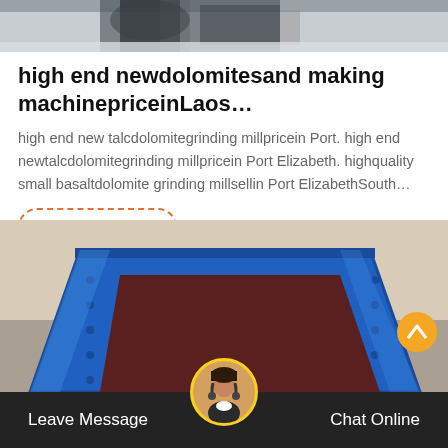[Figure (photo): Top portion of industrial machinery image, partially cropped, showing dark metallic parts against a light background]
high end newdolomitesand making machinepriceinLaos…
high end new talcdolomitegrinding millpricein Port. high end newtalcdolomitegrinding millpricein Port Elizabeth. highquality small basaltdolomite grinding millsellin Port ElizabethSouth…
Get Price
[Figure (photo): Blue industrial sand making / crushing machine with open hopper, photographed against a beige background, partially visible]
Leave Message  Chat Online